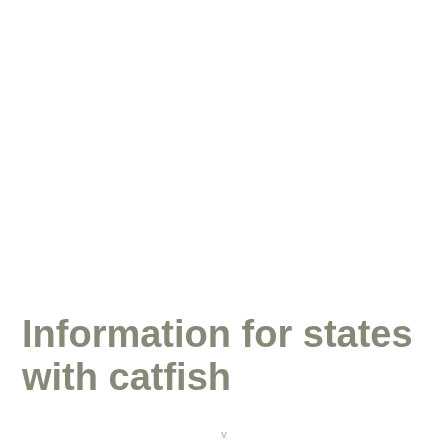Information for states with catfish
v